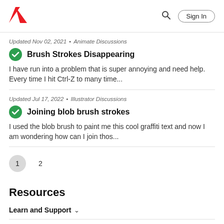Adobe logo | Search | Sign In
Updated Nov 02, 2021 • Animate Discussions
Brush Strokes Disappearing
I have run into a problem that is super annoying and need help. Every time I hit Ctrl-Z to many time...
Updated Jul 17, 2022 • Illustrator Discussions
Joining blob brush strokes
I used the blob brush to paint me this cool graffiti text and now I am wondering how can I join thos...
Page 1  2
Resources
Learn and Support ˅
Resources ˅